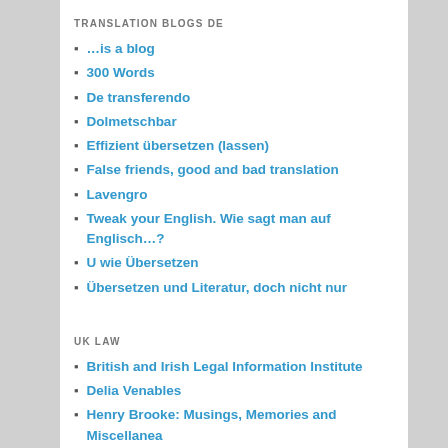TRANSLATION BLOGS DE
…is a blog
300 Words
De transferendo
Dolmetschbar
Effizient übersetzen (lassen)
False friends, good and bad translation
Lavengro
Tweak your English. Wie sagt man auf Englisch…?
U wie Übersetzen
Übersetzen und Literatur, doch nicht nur
UK LAW
British and Irish Legal Information Institute
Delia Venables
Henry Brooke: Musings, Memories and Miscellanea
Infolaw
UK statute law database
UK Supreme Court